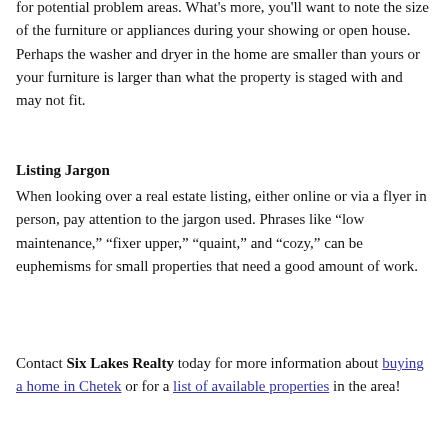for potential problem areas. What's more, you'll want to note the size of the furniture or appliances during your showing or open house. Perhaps the washer and dryer in the home are smaller than yours or your furniture is larger than what the property is staged with and may not fit.
Listing Jargon
When looking over a real estate listing, either online or via a flyer in person, pay attention to the jargon used. Phrases like “low maintenance,” “fixer upper,” “quaint,” and “cozy,” can be euphemisms for small properties that need a good amount of work.
Contact Six Lakes Realty today for more information about buying a home in Chetek or for a list of available properties in the area!